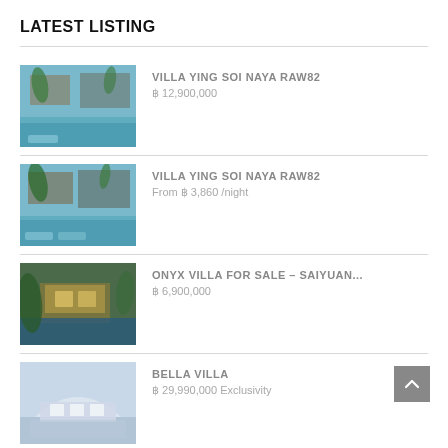LATEST LISTING
VILLA YING SOI NAYA RAW82 | ฿ 12,900,000
VILLA YING SOI NAYA RAW82 | From ฿ 3,860 /night
ONYX VILLA FOR SALE – SAIYUAN... | ฿ 6,900,000
BELLA VILLA | ฿ 29,990,000 Exclusivity
RENTAL IN THE BLISS CONDO PAT137